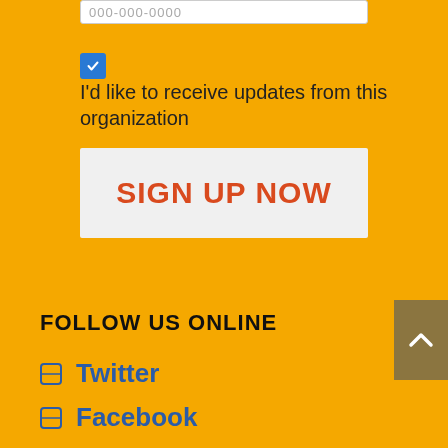000-000-0000
I'd like to receive updates from this organization
SIGN UP NOW
FOLLOW US ONLINE
Twitter
Facebook
YouTube